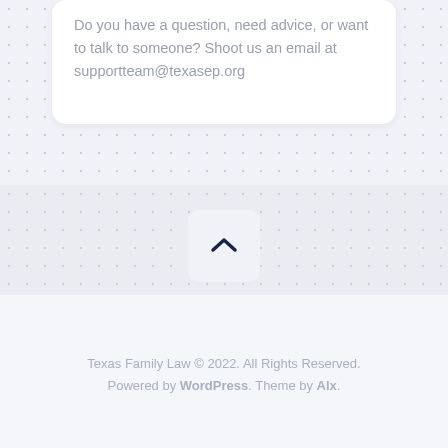Do you have a question, need advice, or want to talk to someone? Shoot us an email at supportteam@texasep.org
[Figure (other): Scroll-to-top button with upward chevron icon on a light blue-grey rounded square background]
Texas Family Law © 2022. All Rights Reserved. Powered by WordPress. Theme by Alx.